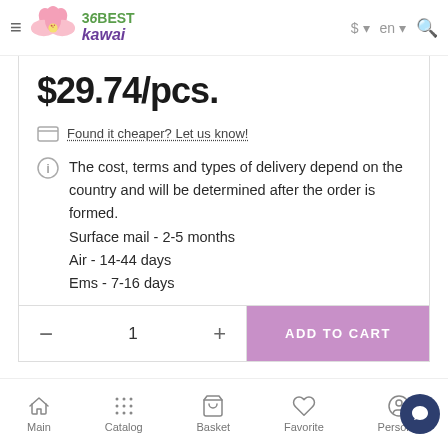36BEST kawai — $ · en · search
$29.74/pcs.
Found it cheaper? Let us know!
The cost, terms and types of delivery depend on the country and will be determined after the order is formed.
Surface mail - 2-5 months
Air - 14-44 days
Ems - 7-16 days
— 1 + ADD TO CART
Main  Catalog  Basket  Favorite  Personal